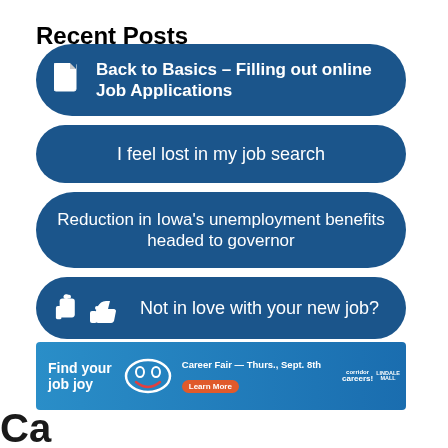Recent Posts
Back to Basics – Filling out online Job Applications
I feel lost in my job search
Reduction in Iowa's unemployment benefits headed to governor
Not in love with your new job?
Summer Job Opportunities
[Figure (infographic): Advertisement banner: Find your job joy — Career Fair Thurs., Sept. 8th with Learn More button, corridor careers and Lindale Mall logos]
Ca